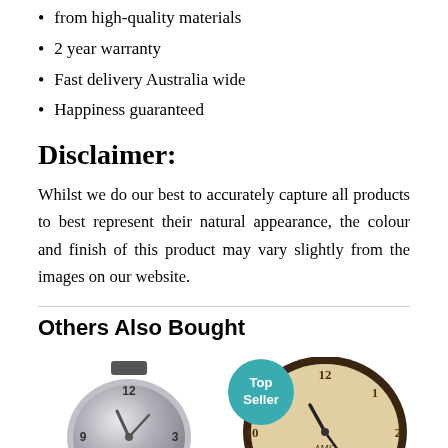from high-quality materials
2 year warranty
Fast delivery Australia wide
Happiness guaranteed
Disclaimer:
Whilst we do our best to accurately capture all products to best represent their natural appearance, the colour and finish of this product may vary slightly from the images on our website.
Others Also Bought
[Figure (photo): Silver modern wall clock with metallic face showing numbers 12, 3, 6, 9 and clock hands]
[Figure (photo): Round dark brown wall clock with cream/antique face showing numbers 10, 11, 12, 1, 2 and AMS brand, with Top Seller badge]